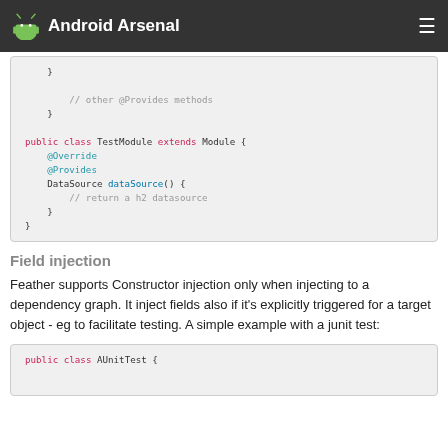Android Arsenal
[Figure (screenshot): Code block showing Java code with TestModule class extending Module, with @Override and @Provides annotations and DataSource method]
Field injection
Feather supports Constructor injection only when injecting to a dependency graph. It inject fields also if it's explicitly triggered for a target object - eg to facilitate testing. A simple example with a junit test:
[Figure (screenshot): Code block showing beginning of AUnitTest public class declaration]